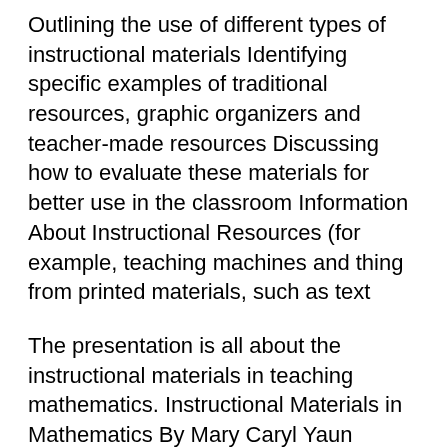Outlining the use of different types of instructional materials Identifying specific examples of traditional resources, graphic organizers and teacher-made resources Discussing how to evaluate these materials for better use in the classroom Information About Instructional Resources (for example, teaching machines and thing from printed materials, such as text
The presentation is all about the instructional materials in teaching mathematics. Instructional Materials in Mathematics By Mary Caryl Yaun Example 5 10 12 4 Glossary of Instructional Strategies and in the